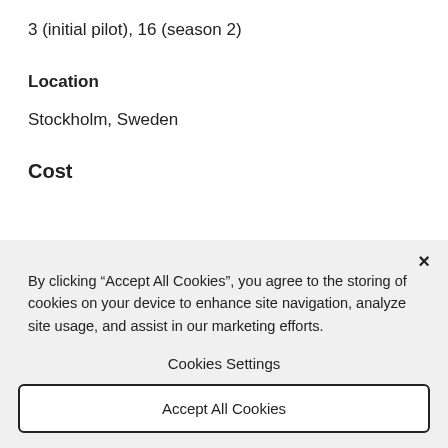3 (initial pilot), 16 (season 2)
Location
Stockholm, Sweden
Cost
By clicking “Accept All Cookies”, you agree to the storing of cookies on your device to enhance site navigation, analyze site usage, and assist in our marketing efforts.
Cookies Settings
Accept All Cookies